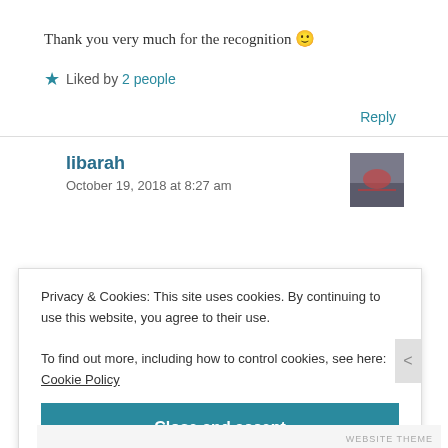Thank you very much for the recognition 🙂
★ Liked by 2 people
Reply
libarah
October 19, 2018 at 8:27 am
Privacy & Cookies: This site uses cookies. By continuing to use this website, you agree to their use.
To find out more, including how to control cookies, see here: Cookie Policy
Close and accept